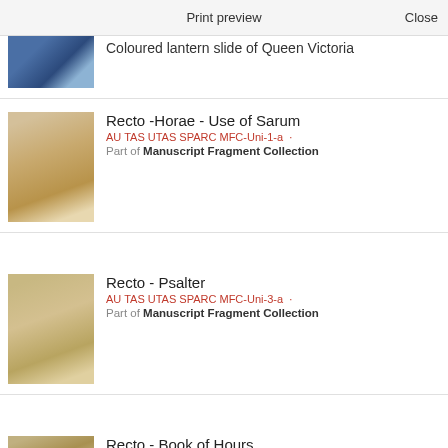Print preview   Close
Coloured lantern slide of Queen Victoria
Recto -Horae - Use of Sarum
AU TAS UTAS SPARC MFC-Uni-1-a · Part of Manuscript Fragment Collection
Recto - Psalter
AU TAS UTAS SPARC MFC-Uni-3-a · Part of Manuscript Fragment Collection
Recto - Book of Hours
AU TAS UTAS SPARC MFC-Uni-4-a · Part of Manuscript Fragment Collection